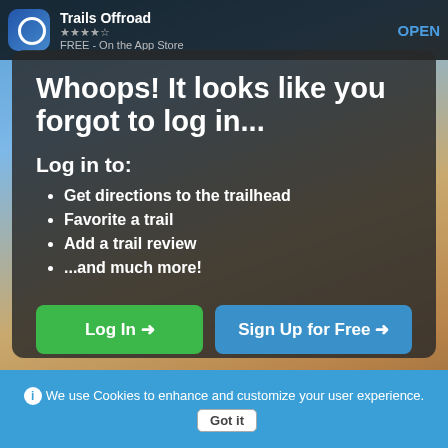[Figure (screenshot): Background photo of a desert dirt road with a yellow road sign reading 'S MAY BE ABLE DUE STORMS', sandy hills and blue sky with clouds in the background]
Trails Offroad | FREE - On the App Store | OPEN
Whoops! It looks like you forgot to log in...
Log in to:
Get directions to the trailhead
Favorite a trail
Add a trail review
...and much more!
Log In →
Sign Up for Free →
We use Cookies to enhance and customize your user experience. Got it